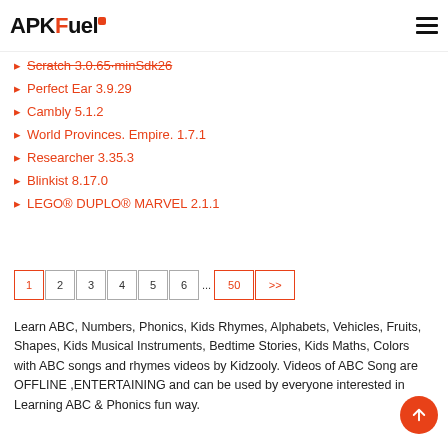APKFuel
Scratch 3.0.65-minSdk26
Perfect Ear 3.9.29
Cambly 5.1.2
World Provinces. Empire. 1.7.1
Researcher 3.35.3
Blinkist 8.17.0
LEGO® DUPLO® MARVEL 2.1.1
1 2 3 4 5 6 ... 50 >>
Learn ABC, Numbers, Phonics, Kids Rhymes, Alphabets, Vehicles, Fruits, Shapes, Kids Musical Instruments, Bedtime Stories, Kids Maths, Colors with ABC songs and rhymes videos by Kidzooly. Videos of ABC Song are OFFLINE ,ENTERTAINING and can be used by everyone interested in Learning ABC & Phonics fun way.